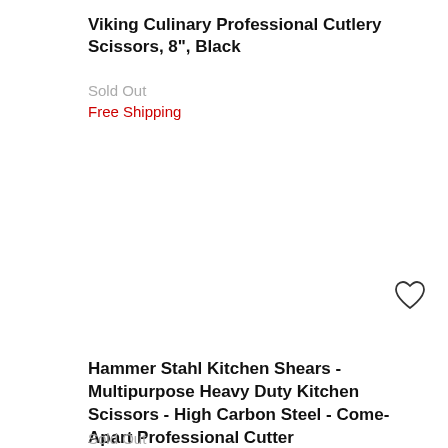Viking Culinary Professional Cutlery Scissors, 8", Black
Sold Out
Free Shipping
[Figure (illustration): Heart/wishlist icon outline]
Hammer Stahl Kitchen Shears - Multipurpose Heavy Duty Kitchen Scissors - High Carbon Steel - Come-Apart Professional Cutter
Sold Out